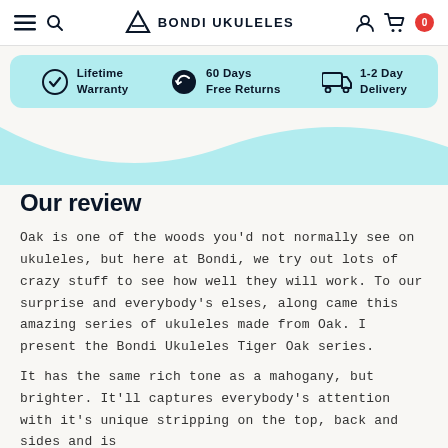BONDI UKULELES — navigation with hamburger, search, account, cart (0)
[Figure (infographic): Benefits banner with three items: Lifetime Warranty (shield icon), 60 Days Free Returns (return icon), 1-2 Day Delivery (truck icon), on light blue background with rounded corners]
[Figure (illustration): Wave-shaped light blue decorative background divider]
Our review
Oak is one of the woods you'd not normally see on ukuleles, but here at Bondi, we try out lots of crazy stuff to see how well they will work. To our surprise and everybody's elses, along came this amazing series of ukuleles made from Oak. I present the Bondi Ukuleles Tiger Oak series.
It has the same rich tone as a mahogany, but brighter. It'll captures everybody's attention with it's unique stripping on the top, back and sides and is